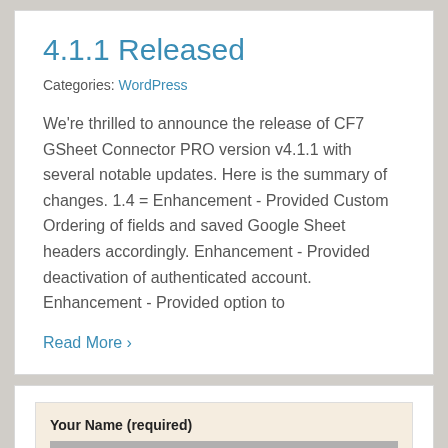4.1.1 Released
Categories: WordPress
We're thrilled to announce the release of CF7 GSheet Connector PRO version v4.1.1 with several notable updates. Here is the summary of changes. 1.4 = Enhancement - Provided Custom Ordering of fields and saved Google Sheet headers accordingly. Enhancement - Provided deactivation of authenticated account. Enhancement - Provided option to
Read More >
Your Name (required)